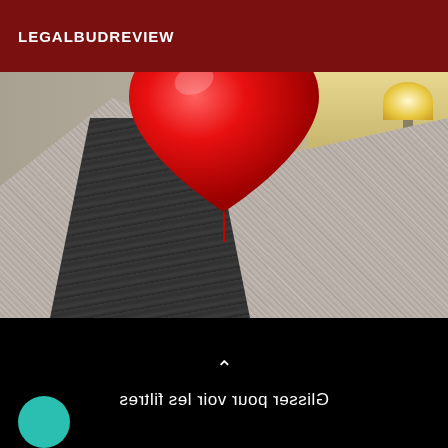LEGALBUDREVIEW
[Figure (photo): Person with red heart balloon covering face, wearing a grey marl cardigan over a dark jacket. Indoor room background with lamp visible on right side. Below the photo is a black bar with upward caret symbol and mirrored text 'Glisser pour voir les filtres'. A teal circle is visible at bottom left.]
Glisser pour voir les filtres